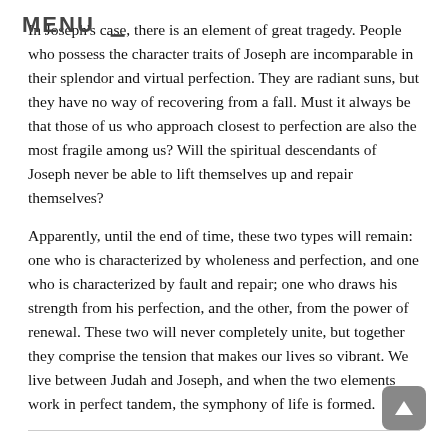In Joseph's case, there is an element of great tragedy. People who possess the character traits of Joseph are incomparable in their splendor and virtual perfection. They are radiant suns, but they have no way of recovering from a fall. Must it always be that those of us who approach closest to perfection are also the most fragile among us? Will the spiritual descendants of Joseph never be able to lift themselves up and repair themselves?
Apparently, until the end of time, these two types will remain: one who is characterized by wholeness and perfection, and one who is characterized by fault and repair; one who draws his strength from his perfection, and the other, from the power of renewal. These two will never completely unite, but together they comprise the tension that makes our lives so vibrant. We live between Judah and Joseph, and when the two elements work in perfect tandem, the symphony of life is formed.
This essay first appeared in Talks on the Parasha, from Koren Publishers Jerusalem, 2015.